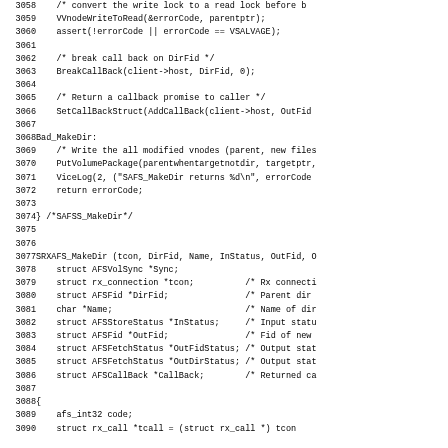Source code listing lines 3058-3090, C programming language, showing VVnodeWriteToRead, Bad_MakeDir label, SRXAFS_MakeDir function definition with struct parameter declarations.